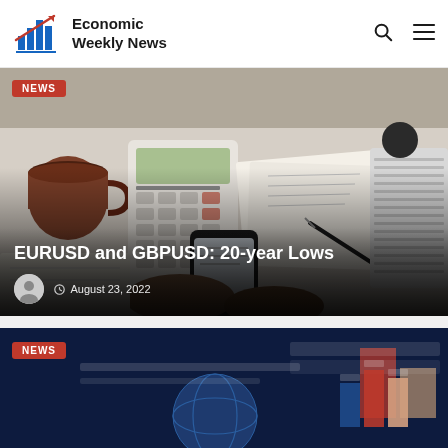Economic Weekly News
[Figure (photo): Overhead shot of a desk with calculator, coffee cup, notebook, pen, phone in hands, and laptop keyboard — finance/news hero image with 'NEWS' badge overlay]
EURUSD and GBPUSD: 20-year Lows
August 23, 2022
[Figure (screenshot): Dark blue background chart/infographic with bar chart showing economic data, with NEWS badge overlay]